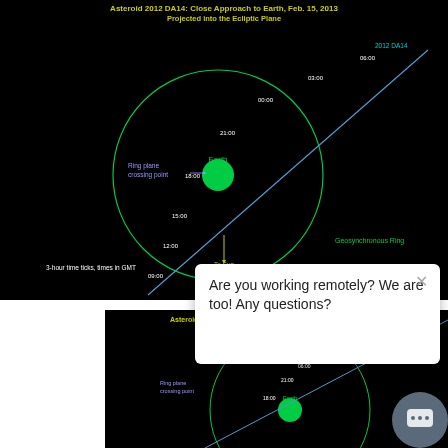[Figure (engineering-diagram): Asteroid 2012 DA14 close approach to Earth, Feb 15 2013, projected into the ecliptic plane. Shows Earth at center with geosynchronous ring, asteroid trajectory passing by with 3-hour time ticks (21:00, 18:00, 15:00, 12:00, 09:00 etc.), Ring plane crossing point labeled, times in GMT, arrow pointing To Sun.]
[Figure (screenshot): Partial duplicate of the asteroid diagram below, showing the bottom portion of the same diagram with chat popup overlay.]
Are you working remotely? We are too! Any questions?